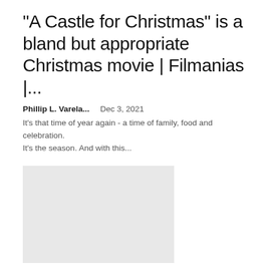“A Castle for Christmas” is a bland but appropriate Christmas movie | Filmanias |...
Phillip L. Varela...    Dec 3, 2021
It’s that time of year again - a time of family, food and celebration. It’s the season. And with this...
[Figure (photo): Placeholder image (light grey rectangle)]
‘Make or break’: business leaders worried about smaller-